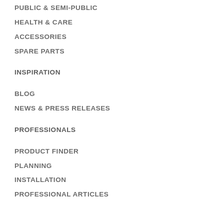PUBLIC & SEMI-PUBLIC
HEALTH & CARE
ACCESSORIES
SPARE PARTS
INSPIRATION
BLOG
NEWS & PRESS RELEASES
PROFESSIONALS
PRODUCT FINDER
PLANNING
INSTALLATION
PROFESSIONAL ARTICLES